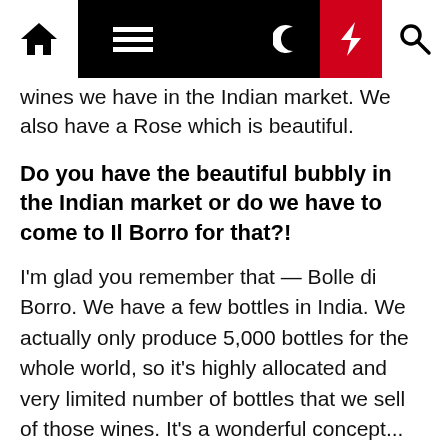[Navigation bar with home, menu, moon, bolt, search icons]
wines we have in the Indian market. We also have a Rose which is beautiful.
Do you have the beautiful bubbly in the Indian market or do we have to come to Il Borro for that?!
I'm glad you remember that — Bolle di Borro. We have a few bottles in India. We actually only produce 5,000 bottles for the whole world, so it's highly allocated and very limited number of bottles that we sell of those wines. It's a wonderful concept... Rose Methode Champenoise-style from 100 per cent Sangiovese grapes and is really unique. We also have other wines like the Alessandro which is our Syrah.
You have been to India before, so tell us a little bit about your impressions of India?